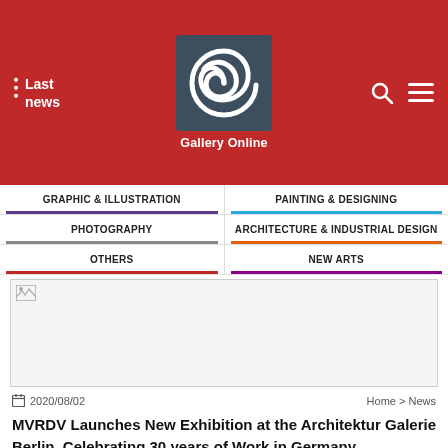[Figure (logo): Gallery Online logo with spiral design on dark slate background]
Last news | Gallery Online | Search | Menu
GRAPHIC & ILLUSTRATION
PAINTING & DESIGNING
PHOTOGRAPHY
ARCHITECTURE & INDUSTRIAL DESIGN
OTHERS
NEW ARTS
[Figure (photo): Article hero image (broken/not loaded)]
2020/08/02
Home > News
MVRDV Launches New Exhibition at the Architektur Galerie Berlin, Celebrating 30 years of Work in Germany